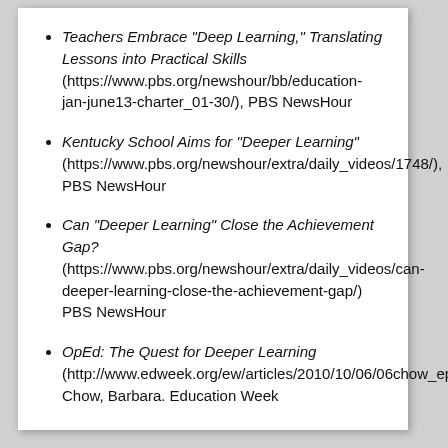Teachers Embrace "Deep Learning," Translating Lessons into Practical Skills (https://www.pbs.org/newshour/bb/education-jan-june13-charter_01-30/), PBS NewsHour
Kentucky School Aims for "Deeper Learning" (https://www.pbs.org/newshour/extra/daily_videos/1748/), PBS NewsHour
Can "Deeper Learning" Close the Achievement Gap? (https://www.pbs.org/newshour/extra/daily_videos/can-deeper-learning-close-the-achievement-gap/) PBS NewsHour
OpEd: The Quest for Deeper Learning (http://www.edweek.org/ew/articles/2010/10/06/06chow_ep.h30.html%20), Chow, Barbara. Education Week